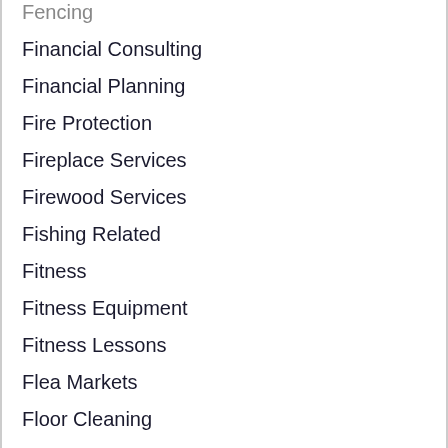Fencing
Financial Consulting
Financial Planning
Fire Protection
Fireplace Services
Firewood Services
Fishing Related
Fitness
Fitness Equipment
Fitness Lessons
Flea Markets
Floor Cleaning
Flooring
Florists
Flowers
Food